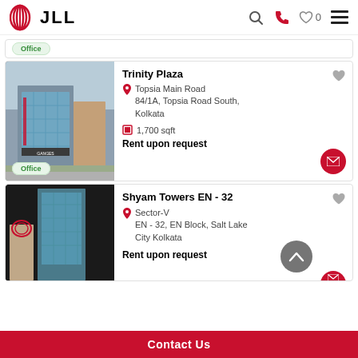JLL
Office
Trinity Plaza
Topsia Main Road 84/1A, Topsia Road South, Kolkata
1,700 sqft
Rent upon request
Office
Shyam Towers EN - 32
Sector-V EN - 32, EN Block, Salt Lake City Kolkata
Rent upon request
Contact Us